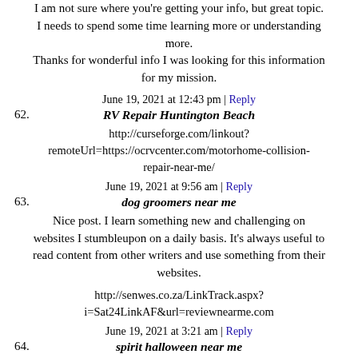I am not sure where you're getting your info, but great topic. I needs to spend some time learning more or understanding more. Thanks for wonderful info I was looking for this information for my mission.
June 19, 2021 at 12:43 pm | Reply
62. RV Repair Huntington Beach
http://curseforge.com/linkout?remoteUrl=https://ocrvcenter.com/motorhome-collision-repair-near-me/
June 19, 2021 at 9:56 am | Reply
63. dog groomers near me
Nice post. I learn something new and challenging on websites I stumbleupon on a daily basis. It's always useful to read content from other writers and use something from their websites.
http://senwes.co.za/LinkTrack.aspx?i=Sat24LinkAF&url=reviewnearme.com
June 19, 2021 at 3:21 am | Reply
64. spirit halloween near me